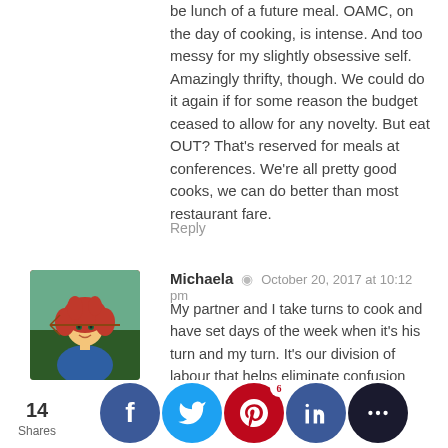be lunch of a future meal. OAMC, on the day of cooking, is intense. And too messy for my slightly obsessive self. Amazingly thrifty, though. We could do it again if for some reason the budget ceased to allow for any novelty. But eat OUT? That's reserved for meals at conferences. We're all pretty good cooks, we can do better than most restaurant fare.
Reply
Michaela · October 20, 2017 at 10:12 pm
My partner and I take turns to cook and have set days of the week when it's his turn and my turn. It's our division of labour that helps eliminate confusion and lack of planning, and we always take these leftovers to work for lunch the next day. We save so much money by doing this but we also really enjoy it more than eating out – home cooked food is the best! Our favourite back-up dish, for the nights that we forget to take meat out of the freezer or something like that, is pasta bake. We always have something on hand to make a delicious sauce (Asparagus, Bacon, Capsicum....anything will do) and we always ha...ta in th...ard. It...ick and...us and n...onne...Win w...ying c...s rece...
14 Shares